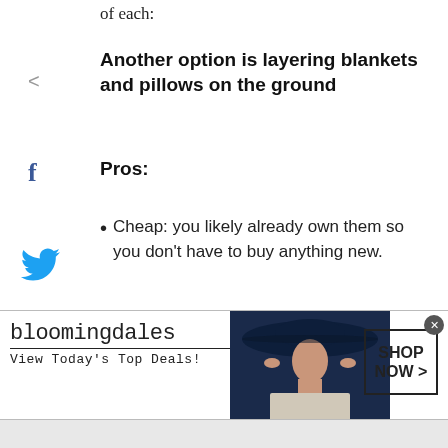of each:
Another option is layering blankets and pillows on the ground
Pros:
Cheap: you likely already own them so you don't have to buy anything new.
Flexible method: you can adjust the thickness of the padding under you or over you to your liking.
[Figure (infographic): Bloomingdale's advertisement banner with logo, tagline 'View Today's Top Deals!', woman in hat photo, and 'SHOP NOW >' button]